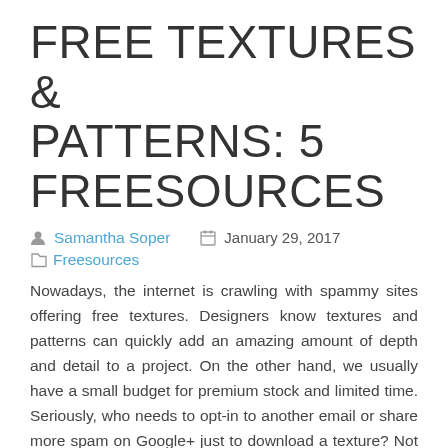FREE TEXTURES & PATTERNS: 5 FREESOURCES
Samantha Soper   January 29, 2017
Freesources
Nowadays, the internet is crawling with spammy sites offering free textures. Designers know textures and patterns can quickly add an amazing amount of depth and detail to a project. On the other hand, we usually have a small budget for premium stock and limited time. Seriously, who needs to opt-in to another email or share more spam on Google+ just to download a texture? Not I. Therefore, I've compiled a list of my favorite non-spammy freesources for textures and patterns for commercial or personal use.